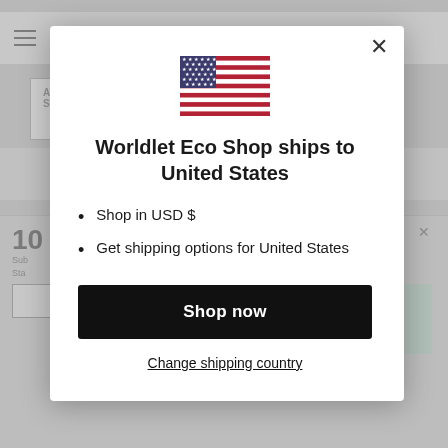[Figure (screenshot): Background of e-commerce website with navigation bar, dropdown, and promo banner, dimmed behind modal overlay]
Worldlet Eco Shop ships to United States
Shop in USD $
Get shipping options for United States
Shop now
Change shipping country